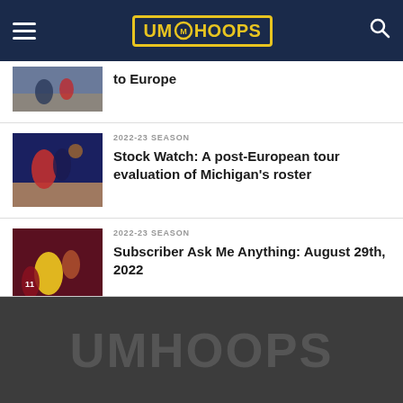UM Hoops
[Figure (photo): Partial basketball action photo, players on court, cropped at top]
to Europe
[Figure (photo): Basketball players in action, defensive play on hardwood court]
2022-23 SEASON
Stock Watch: A post-European tour evaluation of Michigan’s roster
[Figure (photo): Basketball player in yellow jersey with number 11 on opposing player]
2022-23 SEASON
Subscriber Ask Me Anything: August 29th, 2022
UMHOOPS